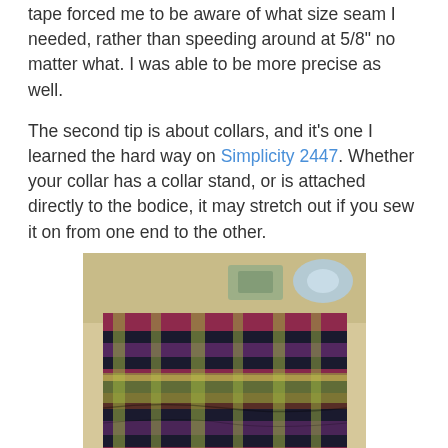tape forced me to be aware of what size seam I needed, rather than speeding around at 5/8" no matter what. I was able to be more precise as well.
The second tip is about collars, and it's one I learned the hard way on Simplicity 2447. Whether your collar has a collar stand, or is attached directly to the bodice, it may stretch out if you sew it on from one end to the other.
[Figure (photo): Photo of a plaid fabric garment (appears to be a collar or bodice piece) laid on a light-colored surface, showing a colorful plaid pattern with pink, green, purple, and dark colors. Items visible in background include what appears to be tape or thread.]
It's not exactly centered.
Instead, start sewing at center back and work your way out